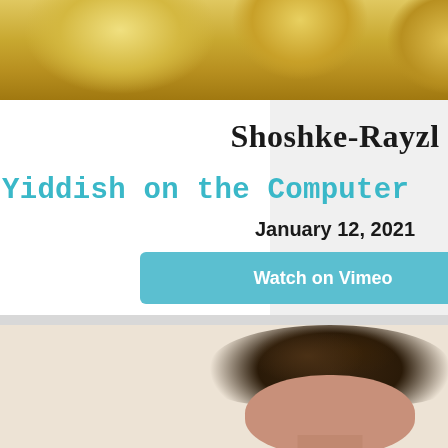[Figure (photo): Top portion of a photo showing a person with curly blonde/golden hair against a light background]
Shoshke-Rayzl
Yiddish on the Computer
January 12, 2021
Watch on Vimeo
[Figure (photo): Bottom portion of a photo showing a person with short dark curly hair, face partially visible, against a light beige background]